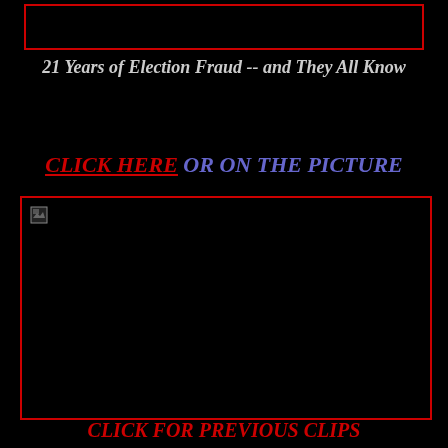[Figure (other): Top bordered black box, decorative header region]
21 Years of Election Fraud -- and They All Know
CLICK HERE OR ON THE PICTURE
[Figure (photo): Large black image box with broken image indicator in top-left corner]
CLICK FOR PREVIOUS CLIPS